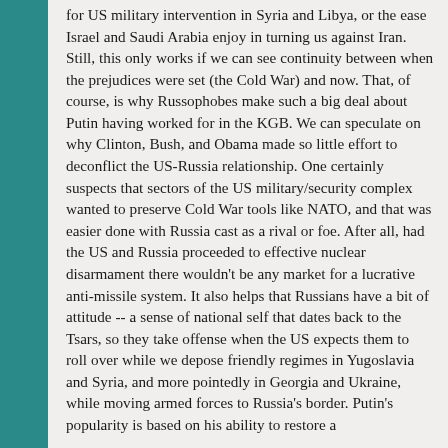for US military intervention in Syria and Libya, or the ease Israel and Saudi Arabia enjoy in turning us against Iran. Still, this only works if we can see continuity between when the prejudices were set (the Cold War) and now. That, of course, is why Russophobes make such a big deal about Putin having worked for in the KGB. We can speculate on why Clinton, Bush, and Obama made so little effort to deconflict the US-Russia relationship. One certainly suspects that sectors of the US military/security complex wanted to preserve Cold War tools like NATO, and that was easier done with Russia cast as a rival or foe. After all, had the US and Russia proceeded to effective nuclear disarmament there wouldn't be any market for a lucrative anti-missile system. It also helps that Russians have a bit of attitude -- a sense of national self that dates back to the Tsars, so they take offense when the US expects them to roll over while we depose friendly regimes in Yugoslavia and Syria, and more pointedly in Georgia and Ukraine, while moving armed forces to Russia's border. Putin's popularity is based on his ability to restore a